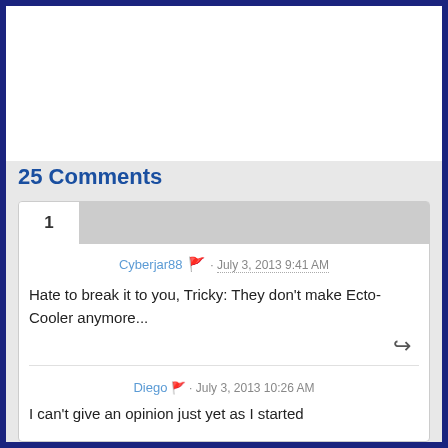25 Comments
Cyberjar88 · July 3, 2013 9:41 AM
Hate to break it to you, Tricky: They don't make Ecto-Cooler anymore...
Diego · July 3, 2013 10:26 AM
I can't give an opinion just yet as I started